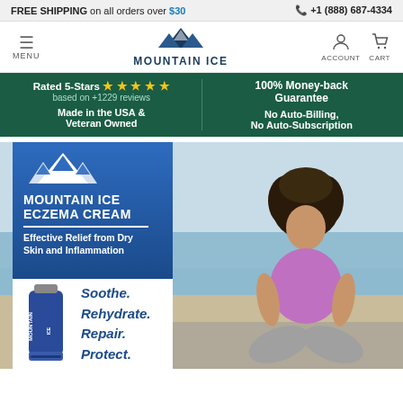FREE SHIPPING on all orders over $30 | +1 (888) 687-4334
[Figure (logo): Mountain Ice logo with mountain peaks and MOUNTAIN ICE text, with MENU, ACCOUNT, CART navigation]
Rated 5-Stars ★★★★★ based on +1229 reviews | Made in the USA & Veteran Owned | 100% Money-back Guarantee | No Auto-Billing, No Auto-Subscription
[Figure (photo): Mountain Ice Eczema Cream product ad. Blue panel with mountain logo, MOUNTAIN ICE ECZEMA CREAM text, Effective Relief from Dry Skin and Inflammation. Product tube shown. Text: Soothe. Rehydrate. Repair. Protect. Background photo of woman meditating on beach.]